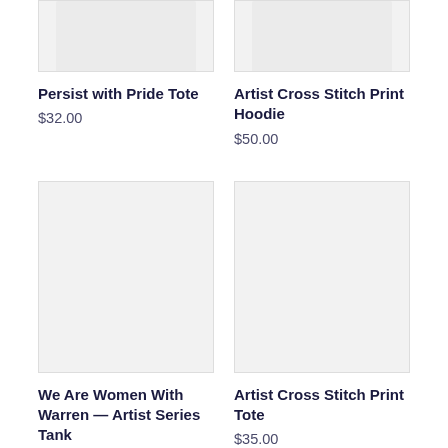[Figure (photo): Partial view of Persist with Pride Tote product image (cropped at top)]
[Figure (photo): Partial view of Artist Cross Stitch Print Hoodie product image (cropped at top)]
Persist with Pride Tote
$32.00
Artist Cross Stitch Print Hoodie
$50.00
[Figure (photo): Empty/placeholder product image for We Are Women With Warren — Artist Series Tank]
[Figure (photo): Empty/placeholder product image for Artist Cross Stitch Print Tote]
We Are Women With Warren — Artist Series Tank
$30.00
Artist Cross Stitch Print Tote
$35.00